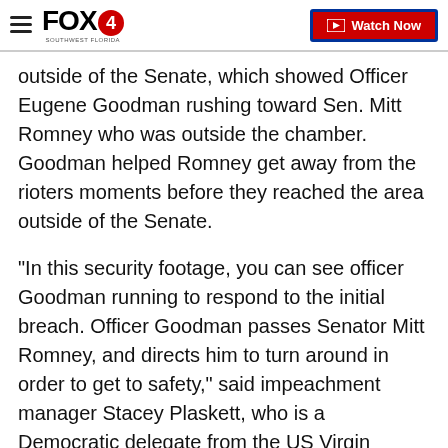FOX4 | Watch Now
outside of the Senate, which showed Officer Eugene Goodman rushing toward Sen. Mitt Romney who was outside the chamber. Goodman helped Romney get away from the rioters moments before they reached the area outside of the Senate.
"In this security footage, you can see officer Goodman running to respond to the initial breach. Officer Goodman passes Senator Mitt Romney, and directs him to turn around in order to get to safety," said impeachment manager Stacey Plaskett, who is a Democratic delegate from the US Virgin Islands. "On the first floor, just we meet them, the mob had already started to search for the Senate chamber. Officer Goodman made his way down to the first floor where